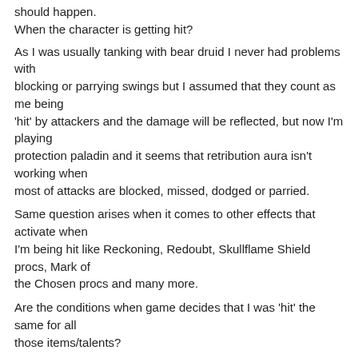should happen.
When the character is getting hit?
As I was usually tanking with bear druid I never had problems with blocking or parrying swings but I assumed that they count as me being 'hit' by attackers and the damage will be reflected, but now I'm playing protection paladin and it seems that retribution aura isn't working when most of attacks are blocked, missed, dodged or parried.
Same question arises when it comes to other effects that activate when I'm being hit like Reckoning, Redoubt, Skullflame Shield procs, Mark of the Chosen procs and many more.
Are the conditions when game decides that I was 'hit' the same for all those items/talents?
AAnt
--
NE Mangling Druid (66), Dwarf Stealthy Rogue